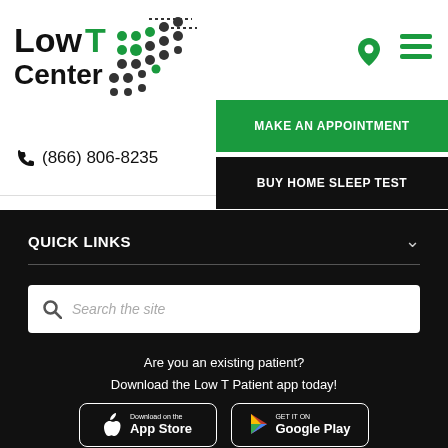[Figure (logo): Low T Center logo with green T letter and dot pattern graphic]
(866) 806-8235
MAKE AN APPOINTMENT
BUY HOME SLEEP TEST
QUICK LINKS
Search the site
Are you an existing patient?
Download the Low T Patient app today!
[Figure (screenshot): App Store download button for iOS]
[Figure (screenshot): Google Play download button for Android]